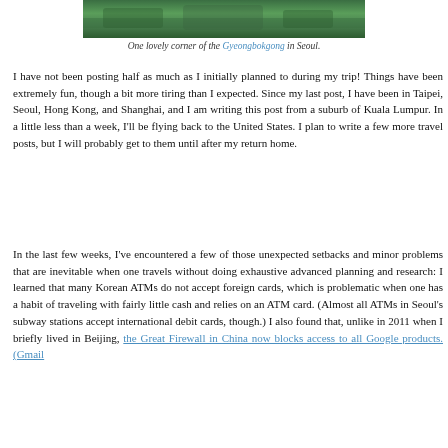[Figure (photo): A green scenic corner of Gyeongbokgong palace in Seoul — foliage and water visible]
One lovely corner of the Gyeongbokgong in Seoul.
I have not been posting half as much as I initially planned to during my trip! Things have been extremely fun, though a bit more tiring than I expected. Since my last post, I have been in Taipei, Seoul, Hong Kong, and Shanghai, and I am writing this post from a suburb of Kuala Lumpur. In a little less than a week, I'll be flying back to the United States. I plan to write a few more travel posts, but I will probably get to them until after my return home.
In the last few weeks, I've encountered a few of those unexpected setbacks and minor problems that are inevitable when one travels without doing exhaustive advanced planning and research: I learned that many Korean ATMs do not accept foreign cards, which is problematic when one has a habit of traveling with fairly little cash and relies on an ATM card. (Almost all ATMs in Seoul's subway stations accept international debit cards, though.) I also found that, unlike in 2011 when I briefly lived in Beijing, the Great Firewall in China now blocks access to all Google products. (Gmail